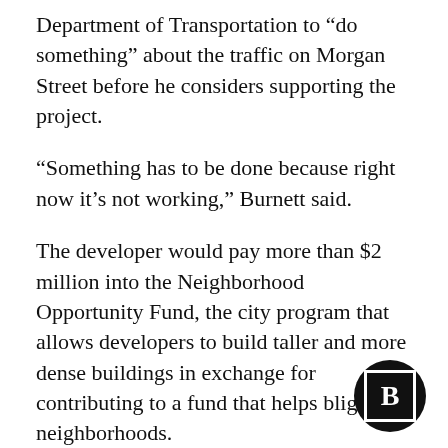Department of Transportation to “do something” about the traffic on Morgan Street before he considers supporting the project.
“Something has to be done because right now it’s not working,” Burnett said.
The developer would pay more than $2 million into the Neighborhood Opportunity Fund, the city program that allows developers to build taller and more dense buildings in exchange for contributing to a fund that helps blighted neighborhoods.
The apartments will be Sterling Bay’s first residential development in the West Loop and after the prominent developer spent the last
[Figure (logo): Bisnow logo: black circle with white bordered square containing bold white letter B]